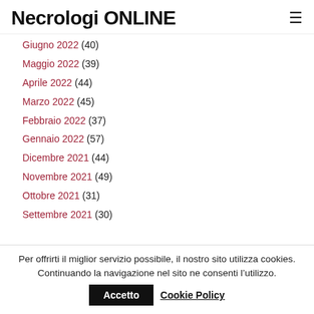Necrologi ONLINE
Giugno 2022 (40)
Maggio 2022 (39)
Aprile 2022 (44)
Marzo 2022 (45)
Febbraio 2022 (37)
Gennaio 2022 (57)
Dicembre 2021 (44)
Novembre 2021 (49)
Ottobre 2021 (31)
Settembre 2021 (30)
Per offrirti il miglior servizio possibile, il nostro sito utilizza cookies. Continuando la navigazione nel sito ne consenti l’utilizzo. Accetto Cookie Policy